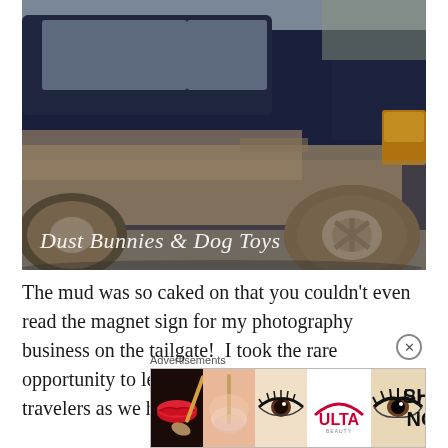[Figure (photo): A dark navy/blue pickup truck (Dodge Ram) covered heavily in caked mud/dust, photographed from the side showing the passenger side. The lower panels, wheel well, and large tire are heavily coated in dried mud. The vehicle is parked on an asphalt parking lot. There is a watermark text overlay reading 'Dust Bunnies & Dog Toys' in white cursive script at the lower left of the image.]
The mud was so caked on that you couldn't even read the magnet sign for my photography business on the tailgate!  I took the rare opportunity to leave a message for other highway travelers as we headed home, much
[Figure (other): Advertisement banner for ULTA beauty. Shows multiple close-up beauty/makeup images including lips with red lipstick, a makeup brush on a cheek, eye with eye makeup, ULTA logo, and a woman's eyes with dramatic eye makeup. Text reads 'SHOP NOW' on the right side.]